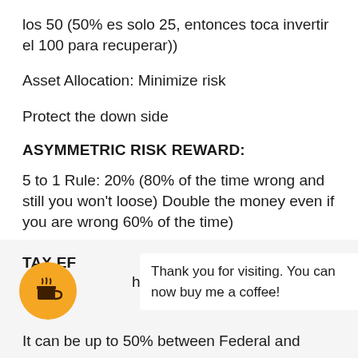los 50 (50% es solo 25, entonces toca invertir el 100 para recuperar))
Asset Allocation: Minimize risk
Protect the down side
ASYMMETRIC RISK REWARD:
5 to 1 Rule: 20% (80% of the time wrong and still you won't loose) Double the money even if you are wrong 60% of the time)
Get at least 3 to 1.
TAX EF
hur
[Figure (illustration): Orange circular button with a coffee cup icon (Buy Me a Coffee widget)]
Thank you for visiting. You can now buy me a coffee!
It can be up to 50% between Federal and